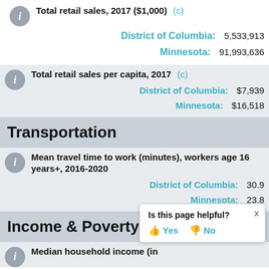Total retail sales, 2017 ($1,000) (c)
District of Columbia: 5,533,913
Minnesota: 91,993,636
Total retail sales per capita, 2017 (c)
District of Columbia: $7,939
Minnesota: $16,518
Transportation
Mean travel time to work (minutes), workers age 16 years+, 2016-2020
District of Columbia: 30.9
Minnesota: 23.8
Income & Poverty
Median household income (in...